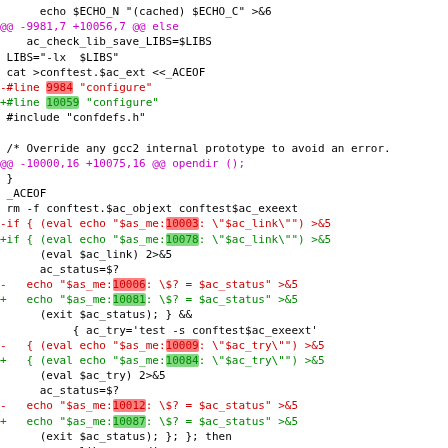diff/patch output showing code changes in a configure script with line number updates from ~9981-10000 range to ~10056-10087 range